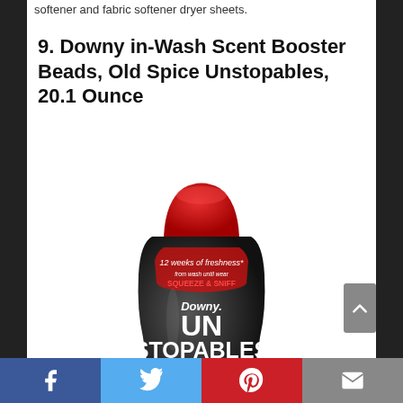softener and fabric softener dryer sheets.
9. Downy in-Wash Scent Booster Beads, Old Spice Unstopables, 20.1 Ounce
[Figure (photo): Product photo of Downy Unstopables In-Wash Scent Booster bottle with red cap and black body. Labels read '12 weeks of freshness', 'from wash until wear', 'SQUEEZE & SNIFF', 'Downy. UN STOPABLES IN-WASH SCENT BOOSTER / HAUSSEUR DE PARFUM POUR LESS'.]
Facebook | Twitter | Pinterest | Email share buttons